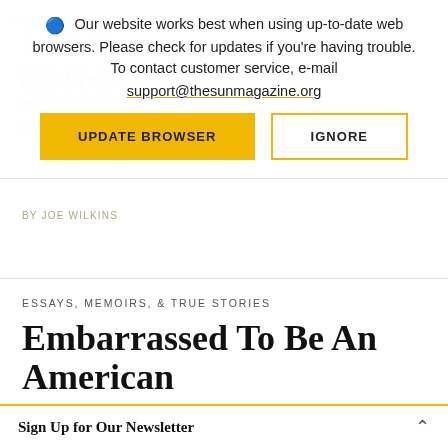Our website works best when using up-to-date web browsers. Please check for updates if you're having trouble. To contact customer service, e-mail support@thesunmagazine.org
UPDATE BROWSER
IGNORE
prayer for the silver fish given, how to open my two hands and let go of whatever darkness I have gathered.
BY JOE WILKINS
ESSAYS, MEMOIRS, & TRUE STORIES
Embarrassed To Be An American
A Diary Of My Presidential Campaigning
Sign Up for Our Newsletter